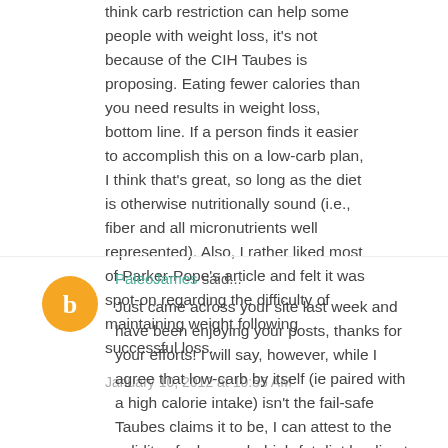think carb restriction can help some people with weight loss, it's not because of the CIH Taubes is proposing. Eating fewer calories than you need results in weight loss, bottom line. If a person finds it easier to accomplish this on a low-carb plan, I think that's great, so long as the diet is otherwise nutritionally sound (i.e., fiber and all micronutrients well represented). Also, I rather liked most of Parker-Pope's article and felt it was spot-on regarding the difficulty of maintaining weight following successful loss.
January 10, 2012 at 10:55 AM
PaleoJames said...
Just came across your site last week and have been enjoying your posts, thanks for your efforts! I will say, however, while I agree that low-carb by itself (ie paired with a high calorie intake) isn't the fail-safe Taubes claims it to be, I can attest to the validity of a low-carb, high-fat diet leading to increased satiety and, as a